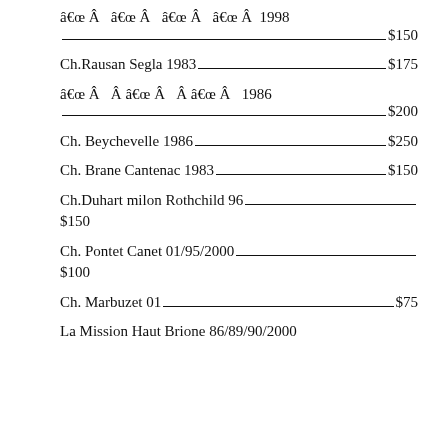â€œ Â  â€œ Â  â€œ Â  â€œ Â 1998 ——————————————$150
Ch.Rausan Segla 1983——————————————$175
â€œ Â  Â â€œ Â  Â â€œ Â  1986 ——————————————$200
Ch. Beychevelle 1986——————————————$250
Ch. Brane Cantenac 1983——————————————$150
Ch.Duhart milon Rothchild 96—————————————— $150
Ch. Pontet Canet 01/95/2000—————————————— $100
Ch. Marbuzet 01——————————————$75
La Mission Haut Brione 86/89/90/2000